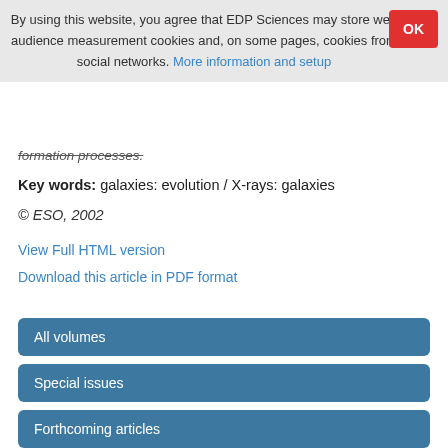By using this website, you agree that EDP Sciences may store web audience measurement cookies and, on some pages, cookies from social networks. More information and setup
formation processes.
Key words: galaxies: evolution / X-rays: galaxies
© ESO, 2002
View Full HTML version
Download this article in PDF format
All volumes
Special issues
Forthcoming articles